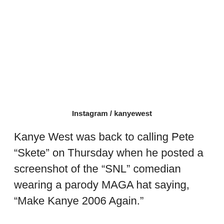Instagram / kanyewest
Kanye West was back to calling Pete “Skete” on Thursday when he posted a screenshot of the “SNL” comedian wearing a parody MAGA hat saying, “Make Kanye 2006 Again.”